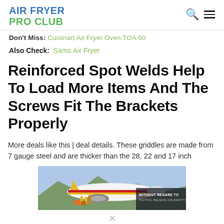AIR FRYER PRO CLUB
Don't Miss:  Cuisinart Air Fryer Oven TOA 60
Also Check:  Sams Air Fryer
Reinforced Spot Welds Help To Load More Items And The Screws Fit The Brackets Properly
More deals like this | deal details. These griddles are made from 7 gauge steel and are thicker than the 28, 22 and 17 inch
[Figure (photo): Advertisement banner showing a Southwest Airlines airplane being loaded with cargo, with text 'WITHOUT REGARD TO POLITICS, RELIGION, OR IDENTITY TO FLY']